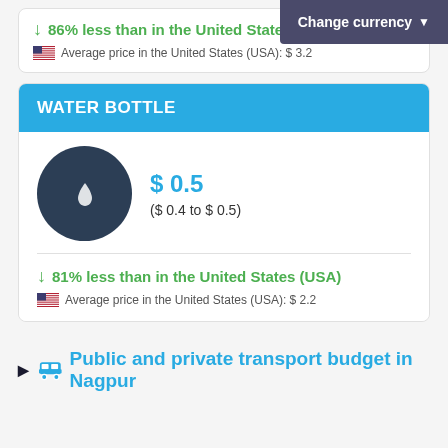Change currency
86% less than in the United States (USA)
Average price in the United States (USA): $ 3.2
WATER BOTTLE
$ 0.5
($ 0.4 to $ 0.5)
81% less than in the United States (USA)
Average price in the United States (USA): $ 2.2
Public and private transport budget in Nagpur